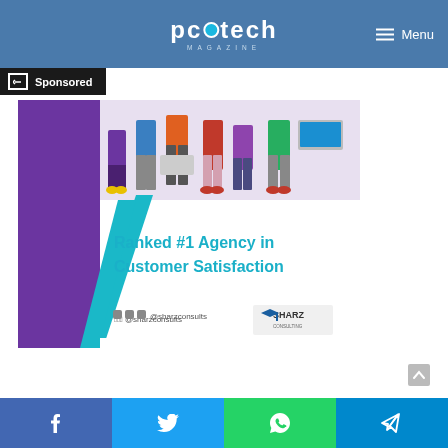pctech MAGAZINE | Menu
Sponsored
[Figure (illustration): Advertisement for Sharz Consults showing people using laptops/devices at top, purple and teal geometric shapes on the left, white background on the right with bold teal text 'Ranked #1 Agency in Customer Satisfaction', social handle @sharzconsults at the bottom left, and Sharz logo at the bottom right.]
Facebook | Twitter | WhatsApp | Telegram